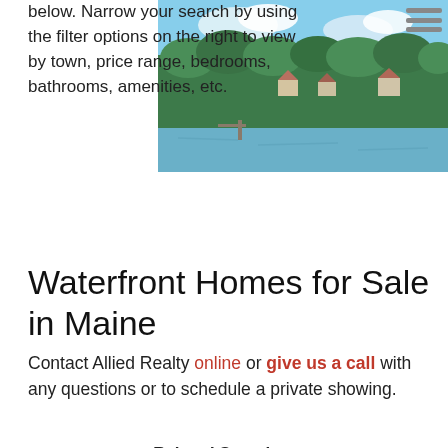below. Narrow your search by using the filter options on the right to view by town, price range, bedrooms, bathrooms, amenities, etc.
[Figure (photo): Aerial/lakeside photo of waterfront homes in Maine with green trees and water in foreground]
Waterfront Homes for Sale in Maine
Contact Allied Realty online or give us a call with any questions or to schedule a private showing.
Related Searches
Lakefront Homes | Riverfront Homes | Pond Front Homes
List   Sort By: Newest
1  2  ...  32  >